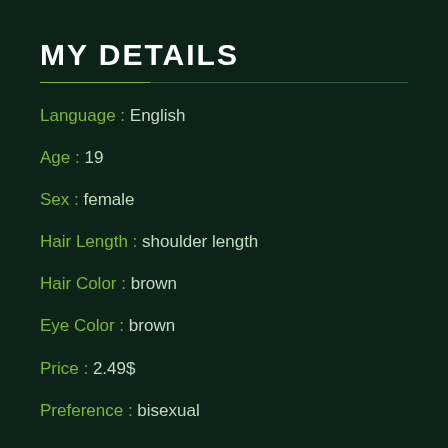MY DETAILS
Language : English
Age : 19
Sex : female
Hair Length : shoulder length
Hair Color : brown
Eye Color : brown
Price : 2.49$
Preference : bisexual